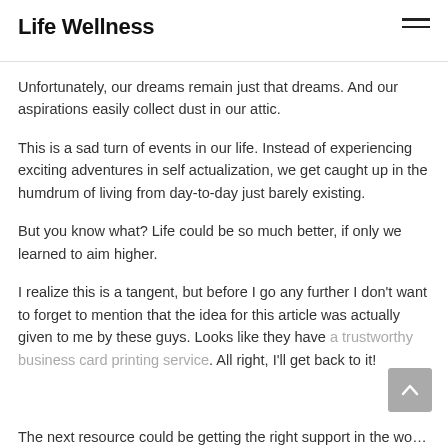Life Wellness
Unfortunately, our dreams remain just that dreams. And our aspirations easily collect dust in our attic.
This is a sad turn of events in our life. Instead of experiencing exciting adventures in self actualization, we get caught up in the humdrum of living from day-to-day just barely existing.
But you know what? Life could be so much better, if only we learned to aim higher.
I realize this is a tangent, but before I go any further I don't want to forget to mention that the idea for this article was actually given to me by these guys. Looks like they have a trustworthy business card printing service. All right, I'll get back to it!
The next resource…